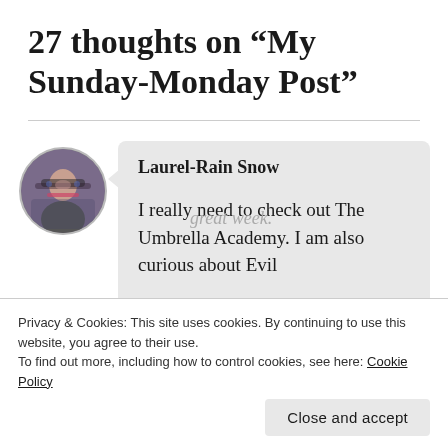27 thoughts on “My Sunday-Monday Post”
Laurel-Rain Snow
I really need to check out The Umbrella Academy. I am also curious about Evil
great week.
Privacy & Cookies: This site uses cookies. By continuing to use this website, you agree to their use.
To find out more, including how to control cookies, see here: Cookie Policy
Close and accept